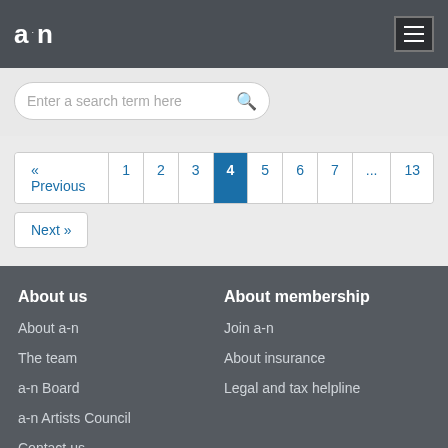a·n [logo and menu icon]
Enter a search term here
« Previous  1  2  3  4  5  6  7  ...  13  Next »
About us
About a-n
The team
a-n Board
a-n Artists Council
Contact us
About membership
Join a-n
About insurance
Legal and tax helpline